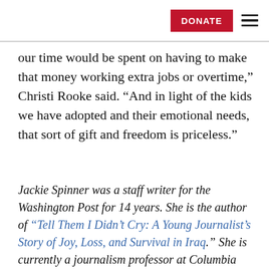DONATE [hamburger menu]
our time would be spent on having to make that money working extra jobs or overtime,” Christi Rooke said. “And in light of the kids we have adopted and their emotional needs, that sort of gift and freedom is priceless.”
Jackie Spinner was a staff writer for the Washington Post for 14 years. She is the author of “Tell Them I Didn’t Cry: A Young Journalist’s Story of Joy, Loss, and Survival in Iraq.” She is currently a journalism professor at Columbia College Chicago and has two sons adopted from Morocco. You can reach her at